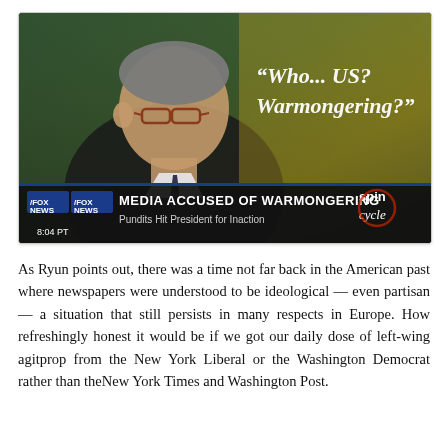[Figure (photo): Fox News screenshot of a man with glasses, with text overlay reading 'Who... US? Warmongering?' and lower-third chyron reading 'MEDIA ACCUSED OF WARMONGERING / Pundits Hit President for Inaction' with Fox News and Spin Cycle logos, timestamp 8:04 PT]
As Ryun points out, there was a time not far back in the American past where newspapers were understood to be ideological — even partisan — a situation that still persists in many respects in Europe. How refreshingly honest it would be if we got our daily dose of left-wing agitprop from the New York Liberal or the Washington Democrat rather than theNew York Times and Washington Post.